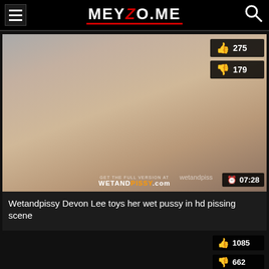MEYZO.ME
[Figure (screenshot): Video thumbnail showing a woman on a table; watermark WETANDPISSY.com; duration 07:28; like count 275; dislike count 179]
Wetandpissy Devon Lee toys her wet pussy in hd pissing scene
[Figure (screenshot): Partial second video card with dark thumbnail; like count 1085; dislike count 662 (partial)]